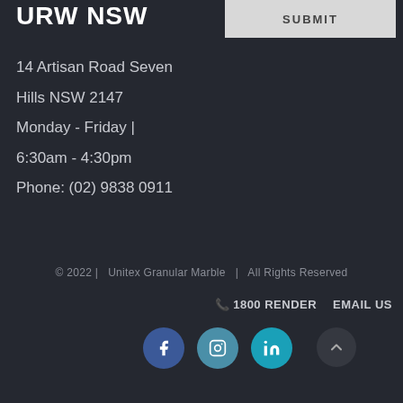URW NSW
14 Artisan Road Seven Hills NSW 2147
Monday - Friday | 6:30am - 4:30pm
Phone: (02) 9838 0911
© 2022 |   Unitex Granular Marble   |   All Rights Reserved
📞 1800 RENDER    EMAIL US
[Figure (other): Social media icons: Facebook, Instagram, LinkedIn circles and an up-arrow button]